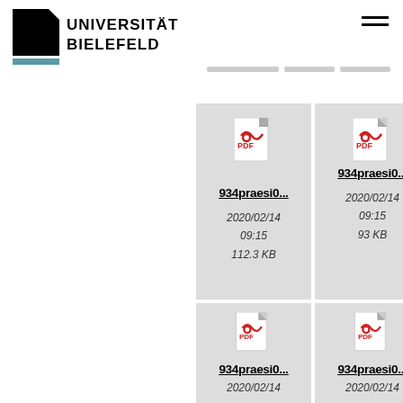[Figure (logo): Universität Bielefeld logo with black shape and teal bar, text reading UNIVERSITÄT BIELEFELD]
[Figure (screenshot): File grid showing PDF file cards: 934praesi0... (2020/02/14 09:15, 112.3 KB), 934praesi0... (2020/02/14 09:15, 93 KB), 934prae... (2020/0... 09:1... 68.3...), 934praesi0... (2020/02/14), 934praesi0... (2020/02/14), 934sequ... (2020/0...)]